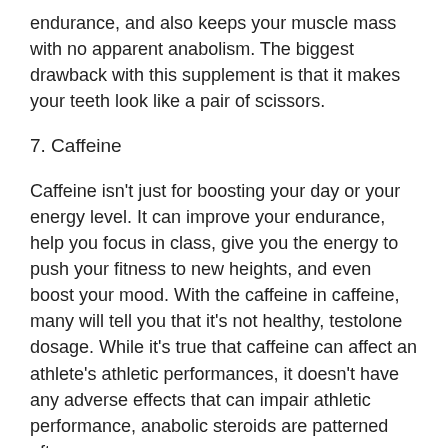endurance, and also keeps your muscle mass with no apparent anabolism. The biggest drawback with this supplement is that it makes your teeth look like a pair of scissors.
7. Caffeine
Caffeine isn't just for boosting your day or your energy level. It can improve your endurance, help you focus in class, give you the energy to push your fitness to new heights, and even boost your mood. With the caffeine in caffeine, many will tell you that it's not healthy, testolone dosage. While it's true that caffeine can affect an athlete's athletic performances, it doesn't have any adverse effects that can impair athletic performance, anabolic steroids are patterned after.
Caffeine helps to increase performance and allows athletes to maximize in some, their